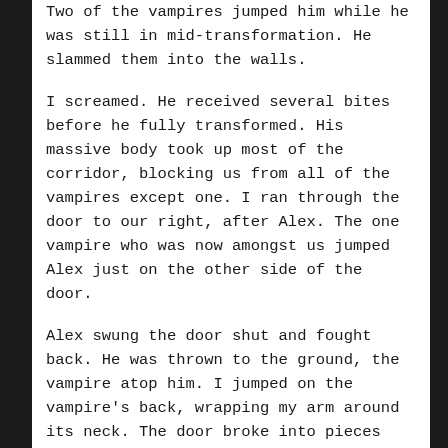Two of the vampires jumped him while he was still in mid-transformation. He slammed them into the walls.
I screamed. He received several bites before he fully transformed. His massive body took up most of the corridor, blocking us from all of the vampires except one. I ran through the door to our right, after Alex. The one vampire who was now amongst us jumped Alex just on the other side of the door.
Alex swung the door shut and fought back. He was thrown to the ground, the vampire atop him. I jumped on the vampire's back, wrapping my arm around its neck. The door broke into pieces around us. Wayne stormed in, still in